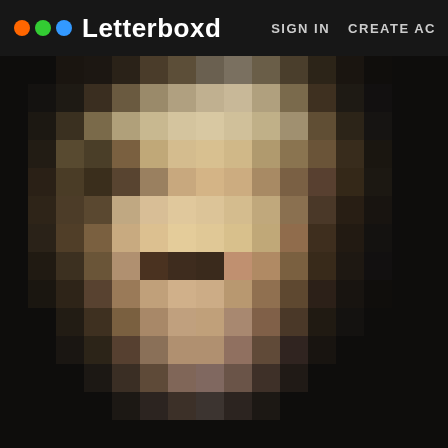[Figure (screenshot): Letterboxd website screenshot showing the header navigation bar with the Letterboxd logo (three colored dots - orange, green, blue - followed by the word 'Letterboxd') on the left, and navigation links 'SIGN IN' and 'CREATE AC' (truncated, likely 'CREATE ACCOUNT') on the right. The background shows a pixelated/blurred image of a person's face against a dark background.]
Letterboxd   SIGN IN   CREATE AC